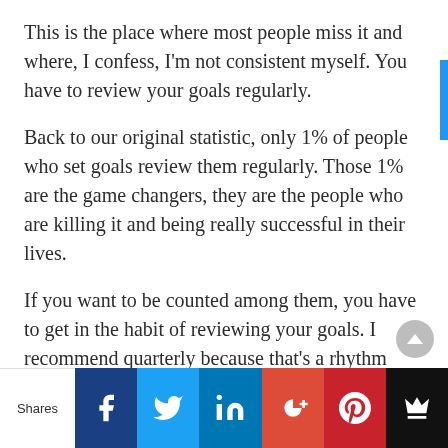This is the place where most people miss it and where, I confess, I'm not consistent myself. You have to review your goals regularly.
Back to our original statistic, only 1% of people who set goals review them regularly. Those 1% are the game changers, they are the people who are killing it and being really successful in their lives.
If you want to be counted among them, you have to get in the habit of reviewing your goals. I recommend quarterly because that's a rhythm most people know how to work with.
Start of a new quarter: change your toothbrush, your taxes (if you're self-employed), and review your
Shares | Facebook | Twitter | LinkedIn | Google+ | Pinterest | Crown